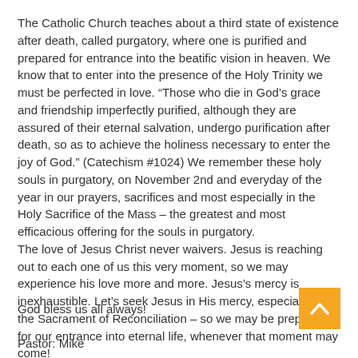The Catholic Church teaches about a third state of existence after death, called purgatory, where one is purified and prepared for entrance into the beatific vision in heaven. We know that to enter into the presence of the Holy Trinity we must be perfected in love. “Those who die in God’s grace and friendship imperfectly purified, although they are assured of their eternal salvation, undergo purification after death, so as to achieve the holiness necessary to enter the joy of God.” (Catechism #1024) We remember these holy souls in purgatory, on November 2nd and everyday of the year in our prayers, sacrifices and most especially in the Holy Sacrifice of the Mass – the greatest and most efficacious offering for the souls in purgatory.
The love of Jesus Christ never waivers. Jesus is reaching out to each one of us this very moment, so we may experience his love more and more. Jesus’s mercy is inexhaustible. Let’s seek Jesus in His mercy, especially in the Sacrament of Reconciliation – so we may be prepared for our entrance into eternal life, whenever that moment may come!
God bless us all always!
Pastor: Mike...